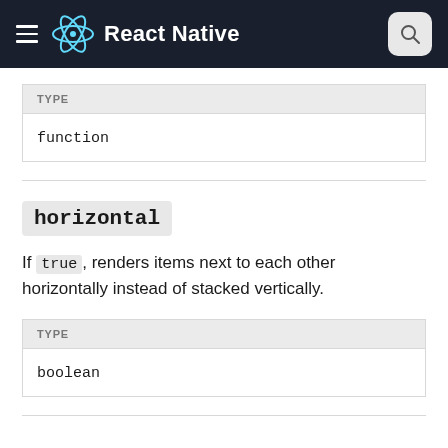React Native
| TYPE |
| --- |
| function |
horizontal
If true, renders items next to each other horizontally instead of stacked vertically.
| TYPE |
| --- |
| boolean |